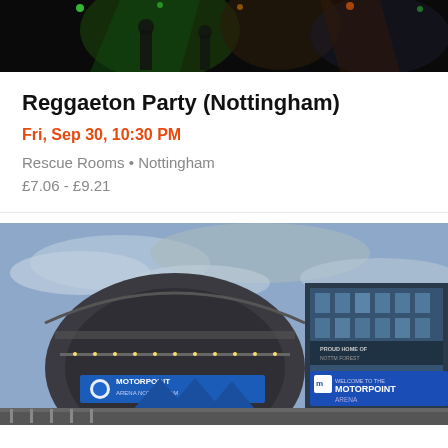[Figure (photo): Dark concert/event photo showing performers on stage with green and orange lighting]
Reggaeton Party (Nottingham)
Fri, Sep 30, 10:30 PM
Rescue Rooms • Nottingham
£7.06 - £9.21
[Figure (photo): Exterior photo of Motorpoint Arena Nottingham with blue tent structures and blue sky with clouds]